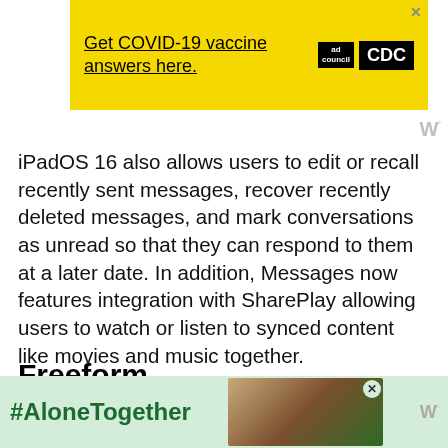[Figure (other): Yellow advertisement banner for COVID-19 vaccine information. Text: 'Get COVID-19 vaccine answers here.' with Ad Council and CDC logos.]
iPadOS 16 also allows users to edit or recall recently sent messages, recover recently deleted messages, and mark conversations as unread so that they can respond to them at a later date. In addition, Messages now features integration with SharePlay allowing users to watch or listen to synced content like movies and music together.
Freeform
iPadOS 16 also adds a new collaboration app to the iPad with a flexible canvas. As per Apple, it
[Figure (other): Bottom advertisement banner with green background showing '#AloneTogether' text and a photo of two people.]